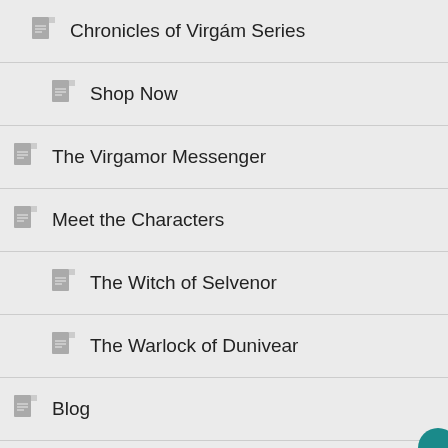Chronicles of Virgám Series
Shop Now
The Virgamor Messenger
Meet the Characters
The Witch of Selvenor
The Warlock of Dunivear
Blog
Contact
Bio